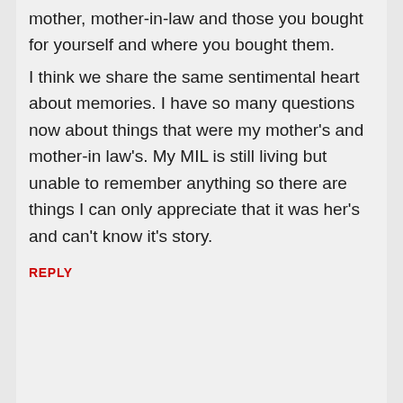mother, mother-in-law and those you bought for yourself and where you bought them.
I think we share the same sentimental heart about memories. I have so many questions now about things that were my mother's and mother-in law's. My MIL is still living but unable to remember anything so there are things I can only appreciate that it was her's and can't know it's story.
REPLY